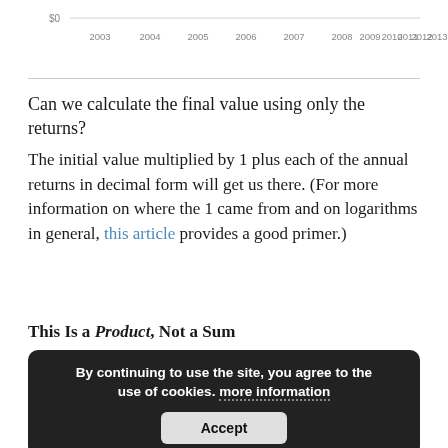[Figure (continuous-plot): Bottom fragment of a line chart showing years 2003–2013 on x-axis with $0 label on y-axis]
Can we calculate the final value using only the returns?
The initial value multiplied by 1 plus each of the annual returns in decimal form will get us there. (For more information on where the 1 came from and on logarithms in general, this article provides a good primer.)
This Is a Product, Not a Sum
$10,000 * 1.1959 * 1.105 * ... * 1.0531 * 0.0142 * 1.3769 * 1.2759 * .9101 * ... * 1.3842 = $26,828
By continuing to use the site, you agree to the use of cookies. more information
Accept
As we discussed in the section above, the geometric